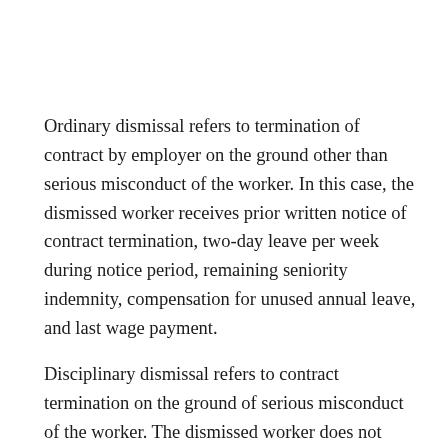Ordinary dismissal refers to termination of contract by employer on the ground other than serious misconduct of the worker. In this case, the dismissed worker receives prior written notice of contract termination, two-day leave per week during notice period, remaining seniority indemnity, compensation for unused annual leave, and last wage payment.
Disciplinary dismissal refers to contract termination on the ground of serious misconduct of the worker. The dismissed worker does not receive notice, two-day leave, or...